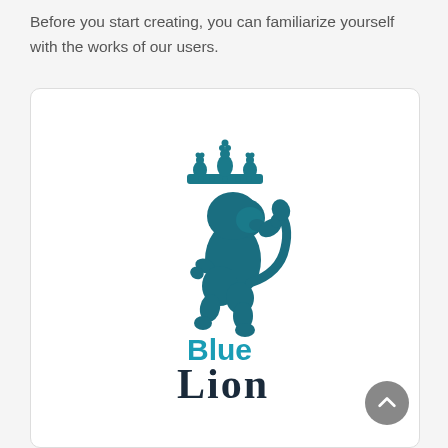Before you start creating, you can familiarize yourself with the works of our users.
[Figure (logo): Blue Lion logo: a teal/dark blue heraldic rampant lion beneath a crown, with text 'Blue' in teal and 'Lion' in dark navy below]